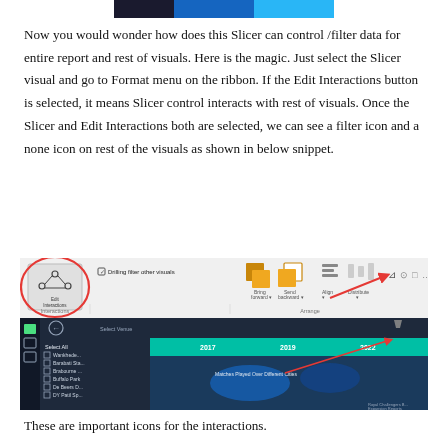[Figure (screenshot): Top portion of a screenshot showing a dark blue/teal UI element, partially visible at the top of the page]
Now you would wonder how does this Slicer can control /filter data for entire report and rest of visuals. Here is the magic. Just select the Slicer visual and go to Format menu on the ribbon. If the Edit Interactions button is selected, it means Slicer control interacts with rest of visuals. Once the Slicer and Edit Interactions both are selected, we can see a filter icon and a none icon on rest of the visuals as shown in below snippet.
[Figure (screenshot): Screenshot of Power BI ribbon showing Edit Interactions button (circled in red), with a checkbox 'Drilling filter other visuals' checked. Below shows Power BI dashboard with a map visual, with a red arrow pointing to a filter icon in the top-right corner of a visual.]
These are important icons for the interactions.